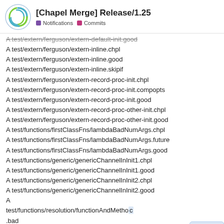[Chapel Merge] Release/1.25 — Notifications Commits
A test/extern/ferguson/extern-default-init.good
A test/extern/ferguson/extern-inline.chpl
A test/extern/ferguson/extern-inline.good
A test/extern/ferguson/extern-inline.skipif
A test/extern/ferguson/extern-record-proc-init.chpl
A test/extern/ferguson/extern-record-proc-init.compopts
A test/extern/ferguson/extern-record-proc-init.good
A test/extern/ferguson/extern-record-proc-other-init.chpl
A test/extern/ferguson/extern-record-proc-other-init.good
A test/functions/firstClassFns/lambdaBadNumArgs.chpl
A test/functions/firstClassFns/lambdaBadNumArgs.future
A test/functions/firstClassFns/lambdaBadNumArgs.good
A test/functions/generic/genericChannelInInit1.chpl
A test/functions/generic/genericChannelInInit1.good
A test/functions/generic/genericChannelInInit2.chpl
A test/functions/generic/genericChannelInInit2.good
A test/functions/resolution/functionAndMethodc.bad
1 / 1